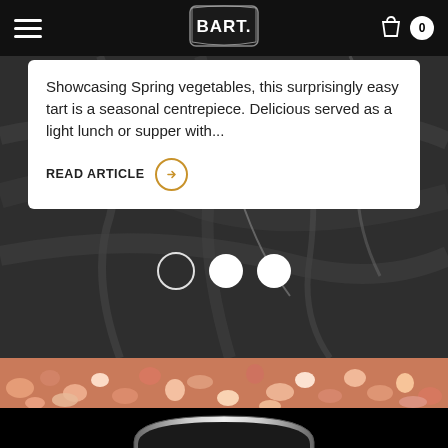BART. (logo) — navigation bar with hamburger menu and cart (0)
Showcasing Spring vegetables, this surprisingly easy tart is a seasonal centrepiece. Delicious served as a light lunch or supper with...
READ ARTICLE →
[Figure (photo): Dark grey marble textured background with carousel indicator dots (one outline circle and two filled white circles) and a strip of pink himalayan salt crystals at the bottom]
[Figure (logo): BART. brand logo on black background — silver arch shape with BART. text in white serif font]